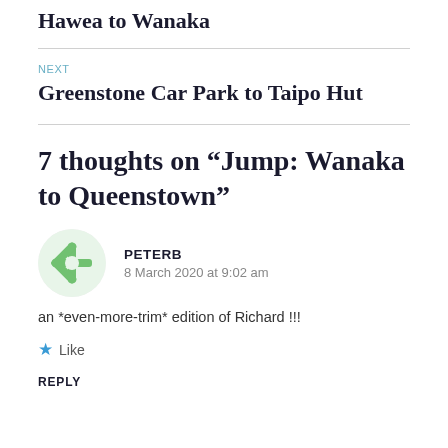Hawea to Wanaka
NEXT
Greenstone Car Park to Taipo Hut
7 thoughts on “Jump: Wanaka to Queenstown”
PETERB
8 March 2020 at 9:02 am
an *even-more-trim* edition of Richard !!!
Like
REPLY